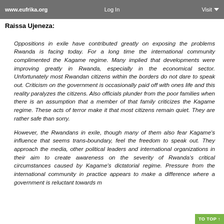www.eufrika.org  Log In  Visit
Raissa Ujeneza:
Oppositions in exile have contributed greatly on exposing the problems Rwanda is facing today. For a long time the international community complimented the Kagame regime. Many implied that developments were improving greatly in Rwanda, especially in the economical sector. Unfortunately most Rwandan citizens within the borders do not dare to speak out. Criticism on the government is occasionally paid off with ones life and this reality paralyzes the citizens. Also officials plunder from the poor families when there is an assumption that a member of that family criticizes the Kagame regime. These acts of terror make it that most citizens remain quiet. They are rather safe than sorry.
However, the Rwandans in exile, though many of them also fear Kagame's influence that seems trans-boundary, feel the freedom to speak out. They approach the media, other political leaders and international organizations in their aim to create awareness on the severity of Rwanda's critical circumstances caused by Kagame's dictatorial regime. Pressure from the international community in practice appears to make a difference where a government is reluctant towards m...